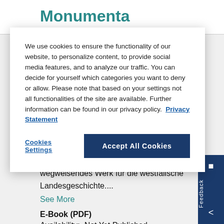Monumenta
We use cookies to ensure the functionality of our website, to personalize content, to provide social media features, and to analyze our traffic. You can decide for yourself which categories you want to deny or allow. Please note that based on your settings not all functionalities of the site are available. Further information can be found in our privacy policy.  Privacy Statement
Cookies Settings
Accept All Cookies
Furstbischofs Ferdinand von Furstenberg sind ein wegweisendes Werk für die westfälische Landesgeschichte....
See More
E-Book (PDF)
Availability:  Not Yet Published
Publication date:  24 Oct 2022
ISBN:  978-3-657-79364-8